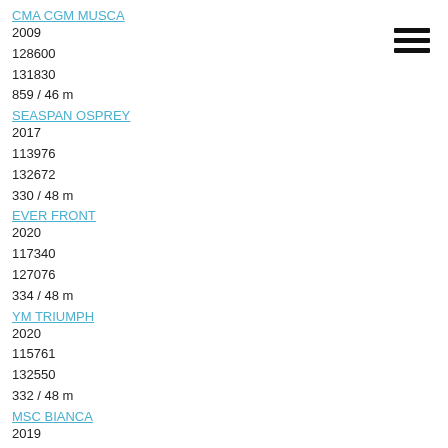CMA CGM MUSCA
2009
128600
131830
859 / 46 m
SEASPAN OSPREY
2017
113976
132672
330 / 48 m
EVER FRONT
2020
117340
127076
334 / 48 m
YM TRIUMPH
2020
115761
132550
332 / 48 m
MSC BIANCA
2019
112695
128433
328 / 48 m
YM TRUTH
2020
115761